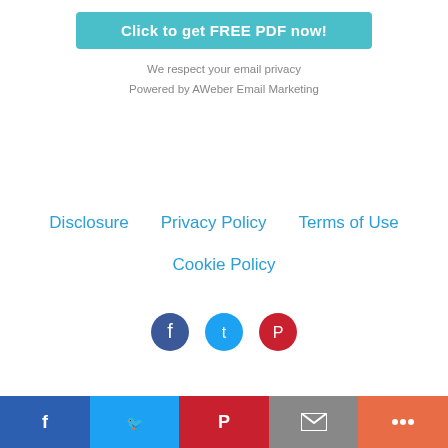[Figure (other): Teal button with text 'Click to get FREE PDF now!']
We respect your email privacy
Powered by AWeber Email Marketing
Disclosure
Privacy Policy
Terms of Use
Cookie Policy
[Figure (other): Social icons row: Facebook (blue circle), Twitter (light blue circle), Pinterest (pink/red circle) — partially visible at bottom]
Share bar with Facebook, Twitter, Pinterest, Email, More buttons